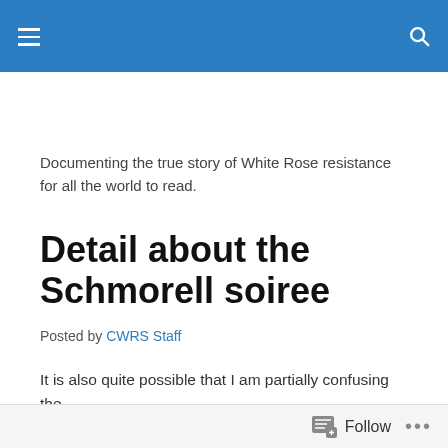Navigation bar with hamburger menu and search icon
Documenting the true story of White Rose resistance for all the world to read.
Detail about the Schmorell soiree
Posted by CWRS Staff
It is also quite possible that I am partially confusing the
Follow ...